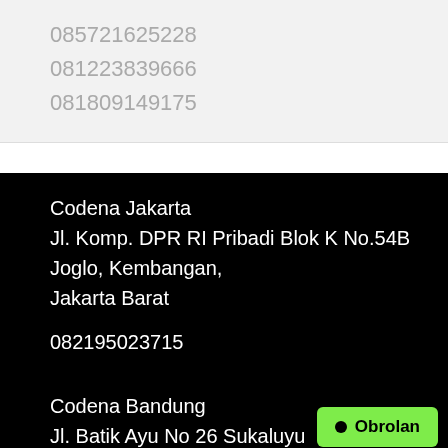085721625228
081223839666
081809149175
Codena Jakarta
Jl. Komp. DPR RI Pribadi Blok K No.54B
Joglo, Kembangan,
Jakarta Barat
082195023715
Codena Bandung
Jl. Batik Ayu No 26 Sukaluyu
Obrolan